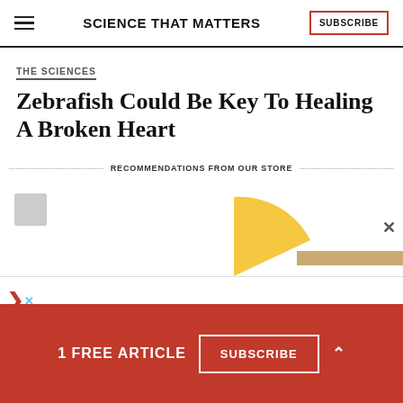SCIENCE THAT MATTERS
THE SCIENCES
Zebrafish Could Be Key To Healing A Broken Heart
RECOMMENDATIONS FROM OUR STORE
[Figure (illustration): Partial illustration showing a yellow/gold pie or donut chart slice and a tan horizontal bar, possibly part of a product advertisement graphic, with a small gray thumbnail in the upper left of the ad area. A close X button appears on the right.]
1 FREE ARTICLE